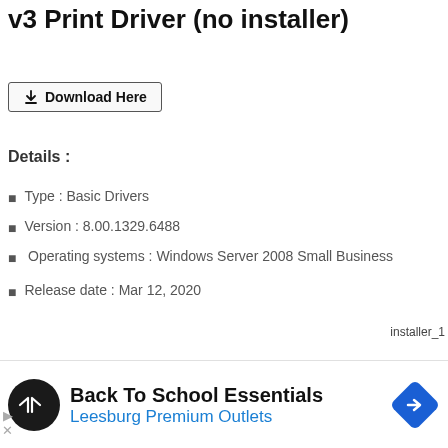v3 Print Driver (no installer)
[Figure (other): Download Here button with download arrow icon]
Details :
Type : Basic Drivers
Version : 8.00.1329.6488
Operating systems : Windows Server 2008 Small Business
Release date : Mar 12, 2020
installer_1
This website uses cookies to ensure you get the best experience on our website.
Learn more
[Figure (other): Chevron down arrow button in white circle]
[Figure (other): Advertisement banner: Back To School Essentials - Leesburg Premium Outlets with logo and direction sign icon]